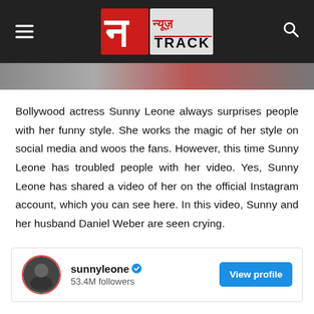[Figure (logo): News Track logo with Hindi text न्यूज़ and TRACK branding on dark header bar with hamburger menu and search icon]
[Figure (photo): Partial image strip showing blurred/dark photo content]
Bollywood actress Sunny Leone always surprises people with her funny style. She works the magic of her style on social media and woos the fans. However, this time Sunny Leone has troubled people with her video. Yes, Sunny Leone has shared a video of her on the official Instagram account, which you can see here. In this video, Sunny and her husband Daniel Weber are seen crying.
[Figure (screenshot): Instagram profile card showing sunnyleone with verified badge, 53.4M followers, and a View profile button]